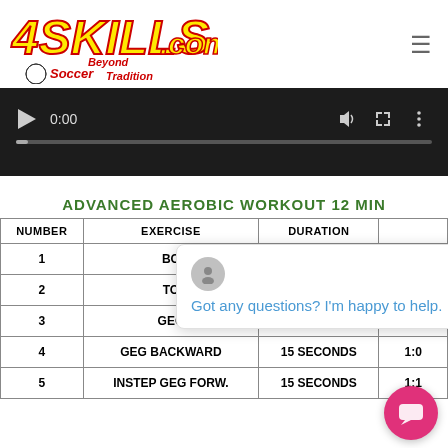[Figure (logo): 4Skills.com Soccer Beyond Tradition logo with soccer ball]
[Figure (screenshot): Video player showing 0:00 timestamp with play button, volume, fullscreen, and more controls on dark background]
ADVANCED AEROBIC WORKOUT 12 MIN
| NUMBER | EXERCISE | DURATION |  |
| --- | --- | --- | --- |
| 1 | BO |  | 20 |
| 2 | TO |  | 35 |
| 3 | GEG | 10 SECONDS | 45 |
| 4 | GEG BACKWARD | 15 SECONDS | 1:0 |
| 5 | INSTEP GEG FORW. | 15 SECONDS | 1:1 |